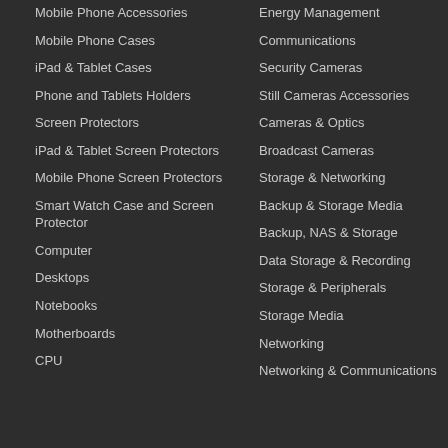Mobile Phone Accessories
Mobile Phone Cases
iPad & Tablet Cases
Phone and Tablets Holders
Screen Protectors
iPad & Tablet Screen Protectors
Mobile Phone Screen Protectors
Smart Watch Case and Screen Protector
Computer
Desktops
Notebooks
Motherboards
CPU
Energy Management
Communications
Security Cameras
Still Cameras Accessories
Cameras & Optics
Broadcast Cameras
Storage & Networking
Backup & Storage Media
Backup, NAS & Storage
Data Storage & Recording
Storage & Peripherals
Storage Media
Networking
Networking & Communications